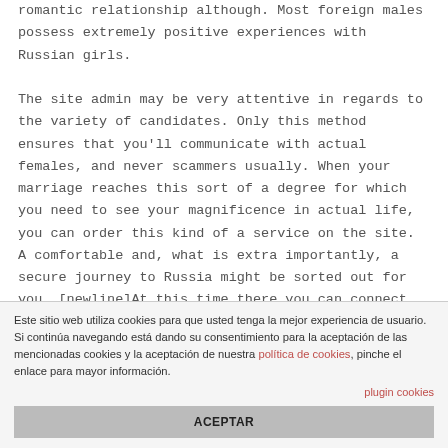romantic relationship although. Most foreign males possess extremely positive experiences with Russian girls.

The site admin may be very attentive in regards to the variety of candidates. Only this method ensures that you'll communicate with actual females, and never scammers usually. When your marriage reaches this sort of a degree for which you need to see your magnificence in actual life, you can order this kind of a service on the site. A comfortable and, what is extra importantly, a secure journey to Russia might be sorted out for you. [newline]At this time there you can connect with along with your chosen one to finally ensure that this really is your soulmate. Now you see how
Este sitio web utiliza cookies para que usted tenga la mejor experiencia de usuario. Si continúa navegando está dando su consentimiento para la aceptación de las mencionadas cookies y la aceptación de nuestra política de cookies, pinche el enlace para mayor información.